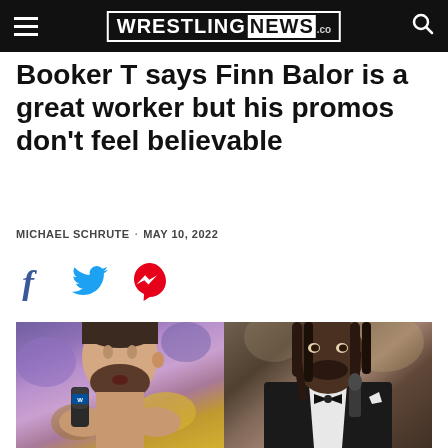Wrestling News
Booker T says Finn Balor is a great worker but his promos don't feel believable
MICHAEL SCHRUTE · MAY 10, 2022
[Figure (photo): Social media share icons: Facebook, Twitter, Pinterest]
[Figure (photo): Side-by-side photo collage: Finn Balor holding a microphone on the left, and Booker T in a suit on the right]